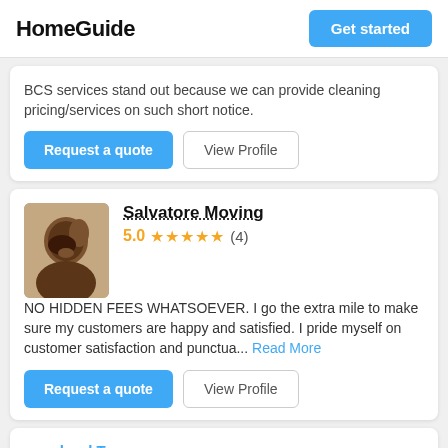HomeGuide
BCS services stand out because we can provide cleaning pricing/services on such short notice.
Request a quote | View Profile
Salvatore Moving
5.0 ★★★★★ (4)
NO HIDDEN FEES WHATSOEVER. I go the extra mile to make sure my customers are happy and satisfied. I pride myself on customer satisfaction and punctua... Read More
Request a quote | View Profile
...orchard Transp...